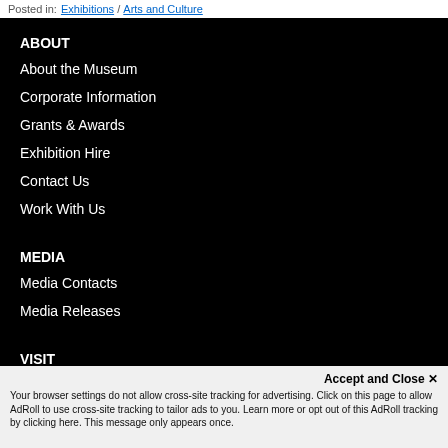Posted in: Exhibitions / Arts and Culture
ABOUT
About the Museum
Corporate Information
Grants & Awards
Exhibition Hire
Contact Us
Work With Us
MEDIA
Media Contacts
Media Releases
VISIT
Plan Your Visit
Getting Here
Groups
Accept and Close ✕
Your browser settings do not allow cross-site tracking for advertising. Click on this page to allow AdRoll to use cross-site tracking to tailor ads to you. Learn more or opt out of this AdRoll tracking by clicking here. This message only appears once.